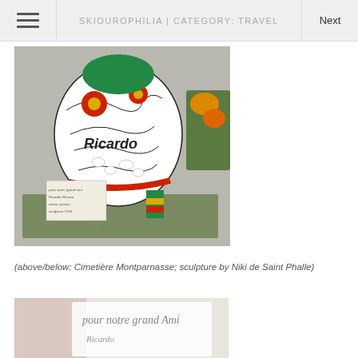SKIOUROPHILIA | CATEGORY: TRAVEL
[Figure (photo): Colorful mosaic sculpture reading 'Ricardo' on a stone base at Cimetière Montparnasse, with a small handwritten sign in front]
(above/below: Cimetière Montparnasse; sculpture by Niki de Saint Phalle)
[Figure (photo): Close-up of handwritten sign/plaque reading 'pour notre grand Ami' in cursive script]